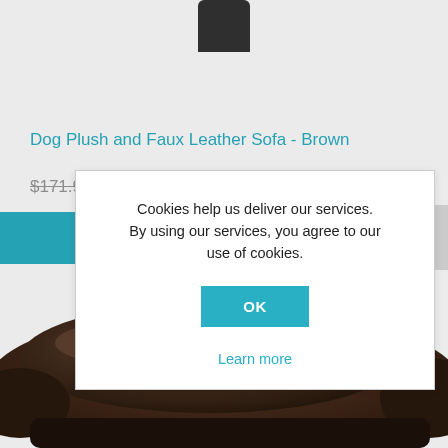[Figure (photo): Partial view of a dark brown dog plush and faux leather sofa, with a black cylindrical object visible at top center and the curved sofa seat at the bottom.]
Dog Plush and Faux Leather Sofa - Brown
$171.94  $101.08
Cookies help us deliver our services. By using our services, you agree to our use of cookies.
OK
Learn more